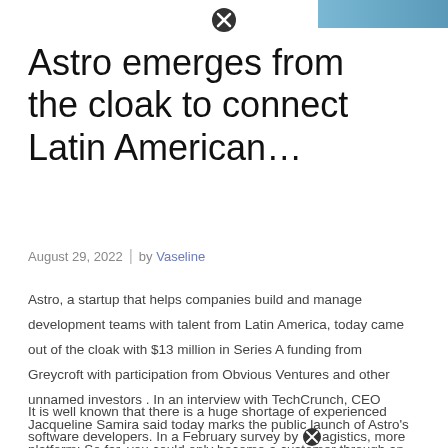[Figure (photo): Blue/teal banner image in top right corner]
Astro emerges from the cloak to connect Latin American…
August 29, 2022  |  by Vaseline
Astro, a startup that helps companies build and manage development teams with talent from Latin America, today came out of the cloak with $13 million in Series A funding from Greycroft with participation from Obvious Ventures and other unnamed investors . In an interview with TechCrunch, CEO Jacqueline Samira said today marks the public launch of Astro's platform; So far, you could only become a customer through an existing recommendation.
It is well known that there is a huge shortage of experienced software developers. In a February survey by [X]agistics, more than half (53%) of